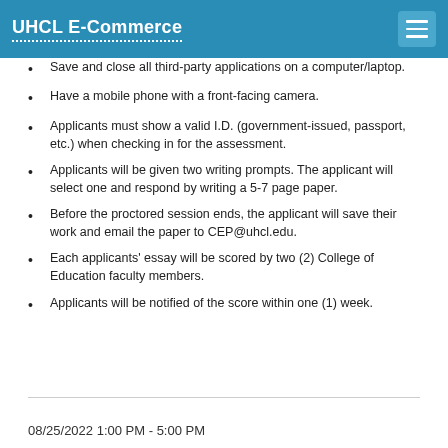UHCL E-Commerce
Save and close all third-party applications on a computer/laptop.
Have a mobile phone with a front-facing camera.
Applicants must show a valid I.D. (government-issued, passport, etc.) when checking in for the assessment.
Applicants will be given two writing prompts. The applicant will select one and respond by writing a 5-7 page paper.
Before the proctored session ends, the applicant will save their work and email the paper to CEP@uhcl.edu.
Each applicants' essay will be scored by two (2) College of Education faculty members.
Applicants will be notified of the score within one (1) week.
08/25/2022 1:00 PM - 5:00 PM